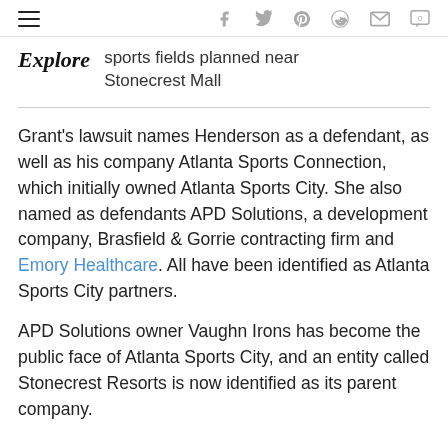≡ f 𝕋 p ⊕ ✉ 💬
sports fields planned near Stonecrest Mall
Grant's lawsuit names Henderson as a defendant, as well as his company Atlanta Sports Connection, which initially owned Atlanta Sports City. She also named as defendants APD Solutions, a development company, Brasfield & Gorrie contracting firm and Emory Healthcare. All have been identified as Atlanta Sports City partners.
APD Solutions owner Vaughn Irons has become the public face of Atlanta Sports City, and an entity called Stonecrest Resorts is now identified as its parent company.